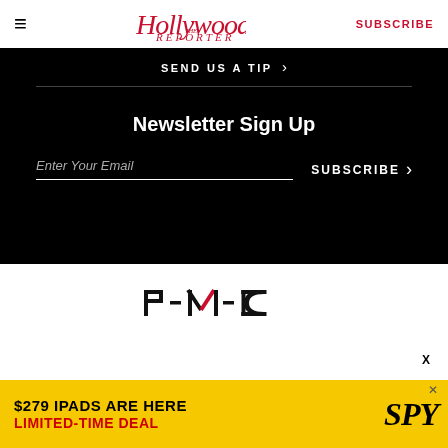The Hollywood Reporter — SUBSCRIBE
SEND US A TIP ›
Newsletter Sign Up
Enter Your Email   SUBSCRIBE ›
[Figure (logo): PMC logo — black letters with red accent mark]
[Figure (screenshot): Advertisement: $279 IPADS ARE HERE LIMITED-TIME DEAL — SPY]